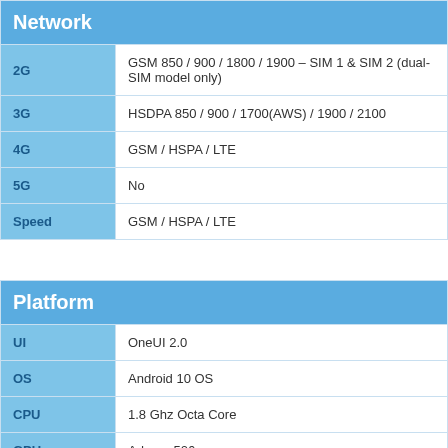| Network |  |
| --- | --- |
| 2G | GSM 850 / 900 / 1800 / 1900 – SIM 1 & SIM 2 (dual-SIM model only) |
| 3G | HSDPA 850 / 900 / 1700(AWS) / 1900 / 2100 |
| 4G | GSM / HSPA / LTE |
| 5G | No |
| Speed | GSM / HSPA / LTE |
| Platform |  |
| --- | --- |
| UI | OneUI 2.0 |
| OS | Android 10 OS |
| CPU | 1.8 Ghz Octa Core |
| GPU | Adreno 506 |